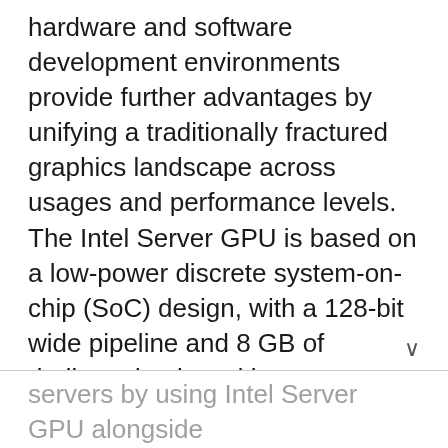hardware and software development environments provide further advantages by unifying a traditionally fractured graphics landscape across usages and performance levels. The Intel Server GPU is based on a low-power discrete system-on-chip (SoC) design, with a 128-bit wide pipeline and 8 GB of dedicated onboard low-power DDR4 memory. Four GPU SoCs are packaged together in a three-quarterlength, full height x16 PCIe Gen3 add-in card from H3C, with a [partially visible line]
[partially visible] servers by using Intel Server GPU alongside Intel Xeon Scalable processors, data center operators can scale graphics capacity separately from server count, supporting larger numbers of streams and subscribers per system.